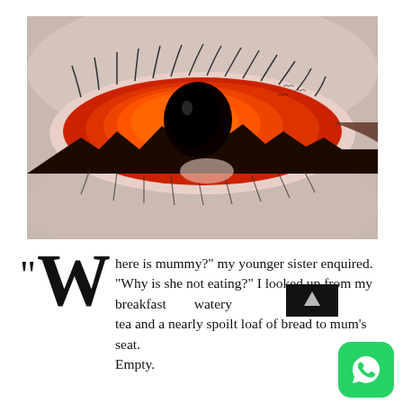[Figure (photo): Close-up of a surreal eye with a glowing red iris, black pupil with dark landscape mountains reflected, surrounded by realistic eyelashes and pale skin. The image is digitally manipulated to appear demonic or supernatural.]
“Where is mummy?” my younger sister enquired. “Why is she not eating?” I looked up from my breakfast watery tea and a nearly spoilt loaf of bread to mum’s seat. Empty.